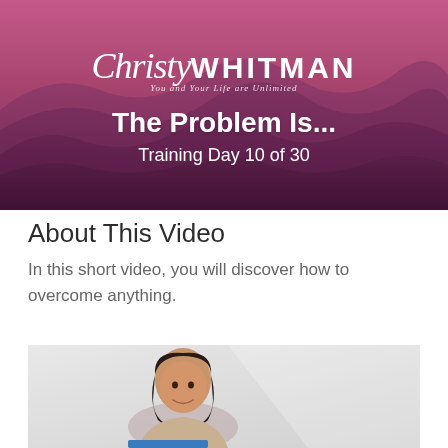[Figure (illustration): Header banner with purple-pink mountain landscape background. Christy Whitman logo at top (script 'Christy' + bold 'WHITMAN', tagline 'You and Your Life are Unlimited'). Title 'The Problem Is...' in bold white. Subtitle 'Training Day 10 of 30' in white.]
About This Video
In this short video, you will discover how to overcome anything.
[Figure (photo): Video thumbnail showing a dark-haired woman smiling against a light gray background, partially visible at bottom of page.]